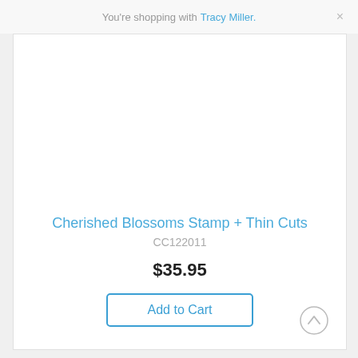You're shopping with Tracy Miller.
Cherished Blossoms Stamp + Thin Cuts
CC122011
$35.95
Add to Cart